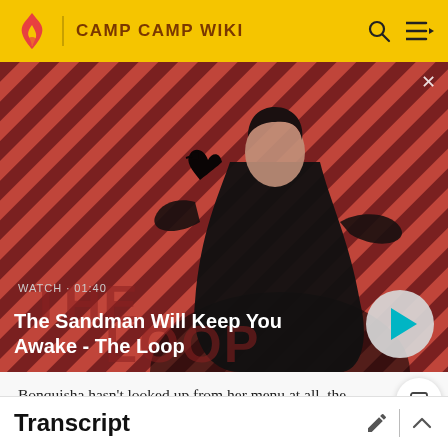CAMP CAMP WIKI
[Figure (screenshot): Video thumbnail showing a dark-cloaked figure with a raven on shoulder against a red and dark diagonal striped background. Title 'The Loop' visible in background text. WATCH · 01:40 label shown. Play button visible bottom right.]
The Sandman Will Keep You Awake - The Loop
Bonquisha hasn't looked up from her menu at all, the tables suddenly had glass cups and the usual condiments.
Transcript